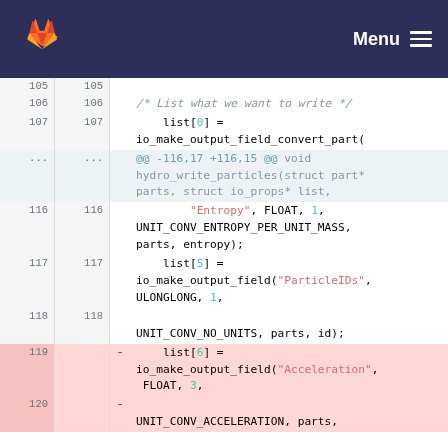Menu
[Figure (screenshot): GitLab code diff view showing changes to a C source file with line numbers, diff markers, and syntax-highlighted code including function calls with string and numeric arguments. Lines 105-120 visible. Lines 119-120 are deleted (red background).]